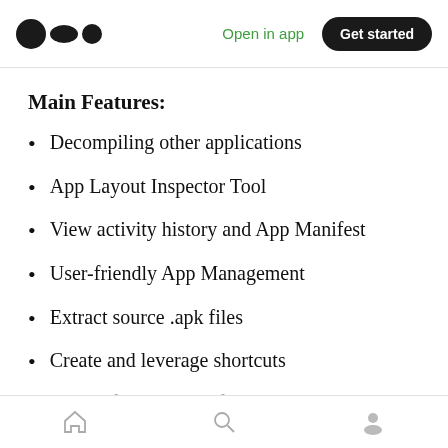Medium logo | Open in app | Get started
Main Features:
Decompiling other applications
App Layout Inspector Tool
View activity history and App Manifest
User-friendly App Management
Extract source .apk files
Create and leverage shortcuts
Click here for detailed information and...
Home | Search | Profile